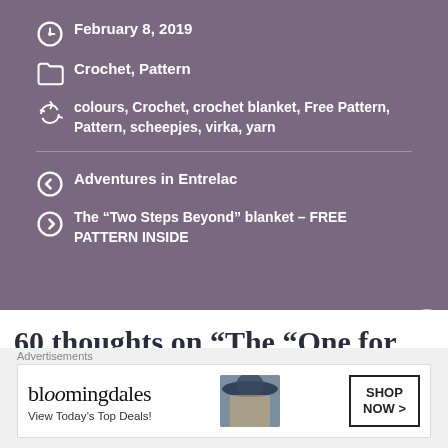February 8, 2019
Crochet, Pattern
colours, Crochet, crochet blanket, Free Pattern, Pattern, scheepjes, virka, yarn
Adventures in Entrelac
The “Two Steps Beyond” blanket – FREE PATTERN INSIDE
60 thoughts on “The “One for the Road” blanket – FREE PATTERN INSIDE”
Advertisements
[Figure (other): Bloomingdale's advertisement banner with text 'View Today's Top Deals!' and 'SHOP NOW >' button, featuring a woman in a wide-brim hat]